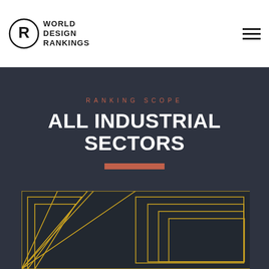[Figure (logo): World Design Rankings logo with circular R emblem and text WORLD DESIGN RANKINGS]
[Figure (illustration): Hamburger menu icon (three horizontal lines) in top right corner]
RANKING SCOPE
ALL INDUSTRIAL SECTORS
[Figure (illustration): Red horizontal decorative bar/divider]
[Figure (illustration): Geometric star/angular pattern with gold/yellow lines on dark background, partially visible at bottom of page]